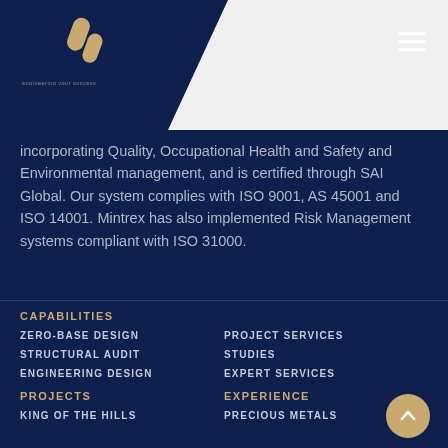[Figure (logo): Mintrex logo with icon and tagline 'engineering your success']
incorporating Quality, Occupational Health and Safety and Environmental management, and is certified through SAI Global. Our system complies with ISO 9001, AS 45001 and ISO 14001. Mintrex has also implemented Risk Management systems compliant with ISO 31000.
CAPABILITIES
ZERO-BASE DESIGN
STRUCTURAL AUDIT
ENGINEERING DESIGN
PROJECT SERVICES
STUDIES
EXPERT SERVICES
PROJECTS
EXPERIENCE
KING OF THE HILLS
PRECIOUS METALS